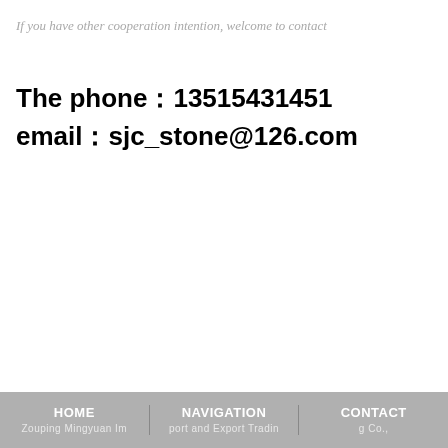If you have other cooperation intention, welcome to contact
The phone：13515431451
email：sjc_stone@126.com
HOME   NAVIGATION   CONTACT
Zouping Mingyuan Import and Export Trading Co.,